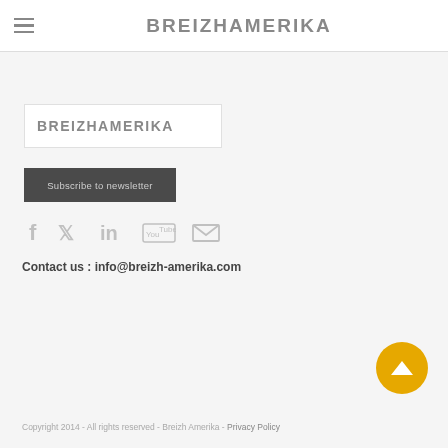BREIZHAMERIKA
[Figure (logo): BreizhAmerika logo text in a white box with border]
Subscribe to newsletter
[Figure (infographic): Social media icons: Facebook, Twitter, LinkedIn, YouTube, Email]
Contact us : info@breizh-amerika.com
Copyright 2014 - All rights reserved - Breizh Amerika - Privacy Policy